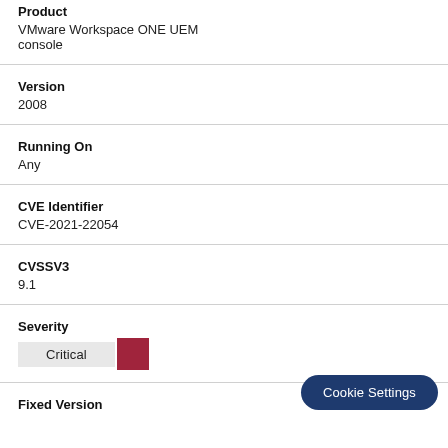| Product | VMware Workspace ONE UEM console |
| Version | 2008 |
| Running On | Any |
| CVE Identifier | CVE-2021-22054 |
| CVSSV3 | 9.1 |
| Severity | Critical |
| Fixed Version |  |